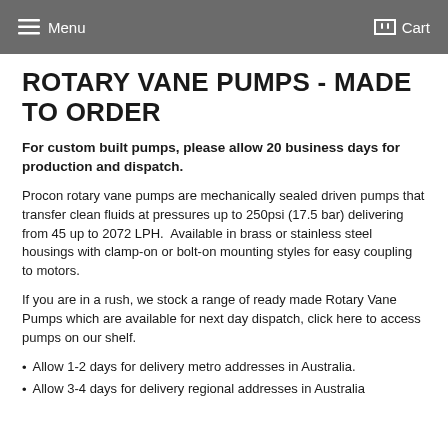Menu  Cart
ROTARY VANE PUMPS - MADE TO ORDER
For custom built pumps, please allow 20 business days for production and dispatch.
Procon rotary vane pumps are mechanically sealed driven pumps that transfer clean fluids at pressures up to 250psi (17.5 bar) delivering from 45 up to 2072 LPH.  Available in brass or stainless steel housings with clamp-on or bolt-on mounting styles for easy coupling to motors.
If you are in a rush, we stock a range of ready made Rotary Vane Pumps which are available for next day dispatch, click here to access pumps on our shelf.
Allow 1-2 days for delivery metro addresses in Australia.
Allow 3-4 days for delivery regional addresses in Australia